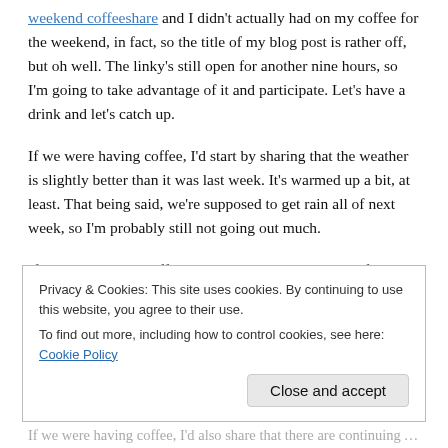weekend coffeeshare and I didn't actually had on my coffee for the weekend, in fact, so the title of my blog post is rather off, but oh well. The linky's still open for another nine hours, so I'm going to take advantage of it and participate. Let's have a drink and let's catch up.
If we were having coffee, I'd start by sharing that the weather is slightly better than it was last week. It's warmed up a bit, at least. That being said, we're supposed to get rain all of next week, so I'm probably still not going out much.
If we were having coffee, I'd tell you that today is my father-in-law's 65th birthday. Retirement age is now 67
Privacy & Cookies: This site uses cookies. By continuing to use this website, you agree to their use.
To find out more, including how to control cookies, see here: Cookie Policy
Close and accept
If we were having coffee, I'd also share that there are continuing...